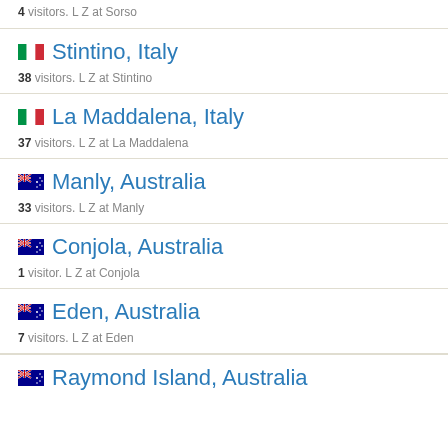4 visitors. L Z at Sorso
Stintino, Italy
38 visitors. L Z at Stintino
La Maddalena, Italy
37 visitors. L Z at La Maddalena
Manly, Australia
33 visitors. L Z at Manly
Conjola, Australia
1 visitor. L Z at Conjola
Eden, Australia
7 visitors. L Z at Eden
Raymond Island, Australia